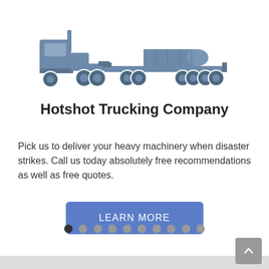[Figure (illustration): Gray silhouette icon of a flatbed hotshot truck hauling a large cylindrical tank/pipe on a lowboy trailer]
Hotshot Trucking Company
Pick us to deliver your heavy machinery when disaster strikes. Call us today absolutely free recommendations as well as free quotes.
[Figure (other): Blue LEARN MORE button]
[Figure (other): Carousel navigation dots — 10 dots, first one dark/active, rest gray]
[Figure (other): Gray scroll-to-top button with upward caret arrow in bottom right corner]